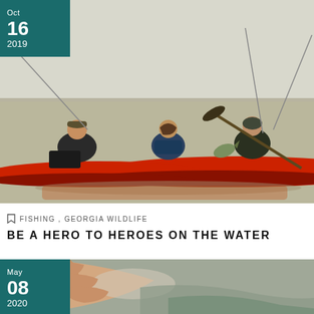[Figure (photo): Three people kayak fishing on calm water; one holds up a fish while another paddles a red kayak]
Oct 16 2019
FISHING, GEORGIA WILDLIFE
BE A HERO TO HEROES ON THE WATER
[Figure (photo): Close-up of a hand holding a small fish near water surface]
May 08 2020